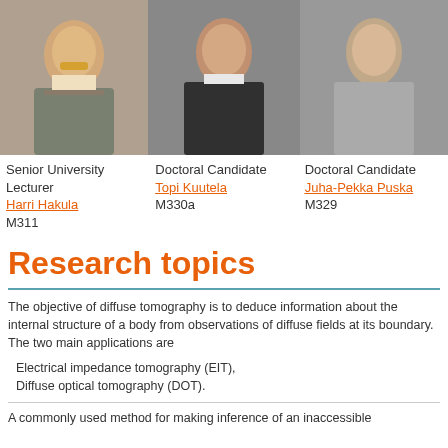[Figure (photo): Photo of Senior University Lecturer Harri Hakula]
[Figure (photo): Photo of Doctoral Candidate Topi Kuutela]
[Figure (photo): Photo of Doctoral Candidate Juha-Pekka Puska]
Senior University Lecturer
Harri Hakula
M311
Doctoral Candidate
Topi Kuutela
M330a
Doctoral Candidate
Juha-Pekka Puska
M329
Research topics
The objective of diffuse tomography is to deduce information about the internal structure of a body from observations of diffuse fields at its boundary. The two main applications are
Electrical impedance tomography (EIT),
Diffuse optical tomography (DOT).
A commonly used method for making inference of an inaccessible